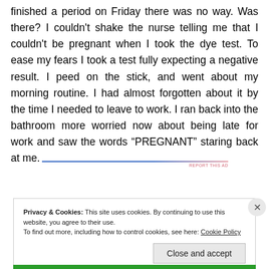finished a period on Friday there was no way. Was there? I couldn't shake the nurse telling me that I couldn't be pregnant when I took the dye test. To ease my fears I took a test fully expecting a negative result. I peed on the stick, and went about my morning routine. I had almost forgotten about it by the time I needed to leave to work. I ran back into the bathroom more worried now about being late for work and saw the words "PREGNANT" staring back at me.
Privacy & Cookies: This site uses cookies. By continuing to use this website, you agree to their use. To find out more, including how to control cookies, see here: Cookie Policy